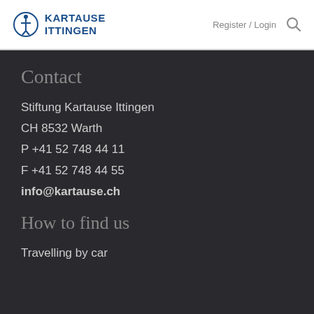KARTAUSE ITTINGEN   Register / Login
Contact
Stiftung Kartause Ittingen
CH 8532 Warth
P +41 52 748 44 11
F +41 52 748 44 55
info@kartause.ch
How to find us
Travelling by car